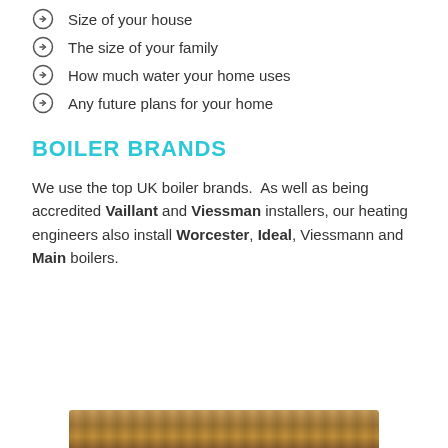Size of your house
The size of your family
How much water your home uses
Any future plans for your home
BOILER BRANDS
We use the top UK boiler brands.  As well as being accredited Vaillant and Viessman installers, our heating engineers also install Worcester, Ideal, Viessmann and Main boilers.
[Figure (photo): Bottom strip showing a wooden/boiler photo partially visible at bottom of page]